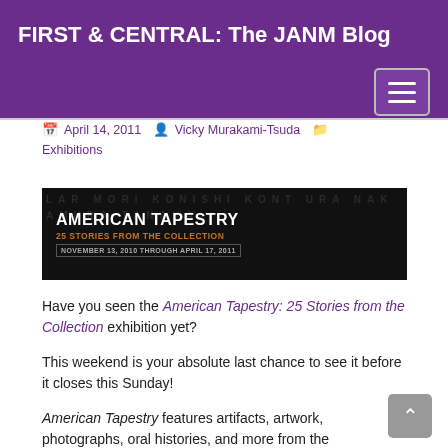FIRST & CENTRAL: The JANM Blog
April 14, 2011   Vicky Murakami-Tsuda   Exhibitions
[Figure (photo): American Tapestry: 25 Stories from the Collection exhibition banner. Black background with names/text in the background. White bold text reads AMERICAN TAPESTRY, orange subtitle 25 STORIES FROM THE COLLECTION, gray date text NOVEMBER 13, 2010 THROUGH APRIL 17, 2011.]
Have you seen the American Tapestry: 25 Stories from the Collection exhibition yet?
This weekend is your absolute last chance to see it before it closes this Sunday!
American Tapestry features artifacts, artwork, photographs, oral histories, and more from the